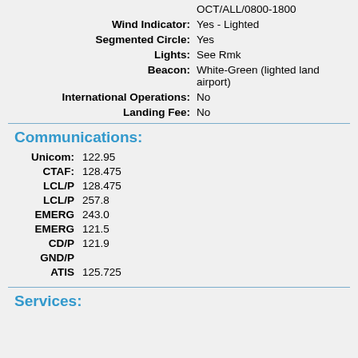OCT/ALL/0800-1800
Wind Indicator: Yes - Lighted
Segmented Circle: Yes
Lights: See Rmk
Beacon: White-Green (lighted land airport)
International Operations: No
Landing Fee: No
Communications:
Unicom: 122.95
CTAF: 128.475
LCL/P 128.475
LCL/P 257.8
EMERG 243.0
EMERG 121.5
CD/P 121.9
GND/P
ATIS 125.725
Services: